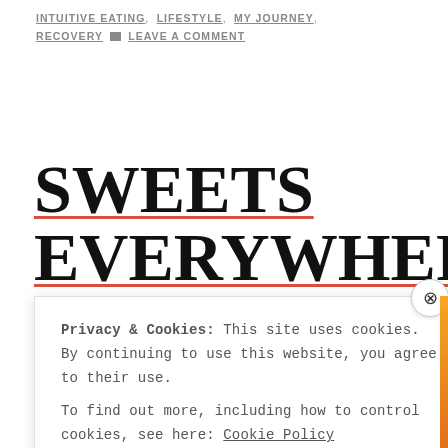INTUITIVE EATING, LIFESTYLE, MY JOURNEY, RECOVERY   LEAVE A COMMENT
SWEETS EVERYWHERE 😢
Privacy & Cookies: This site uses cookies. By continuing to use this website, you agree to their use.
To find out more, including how to control cookies, see here: Cookie Policy
Close and accept